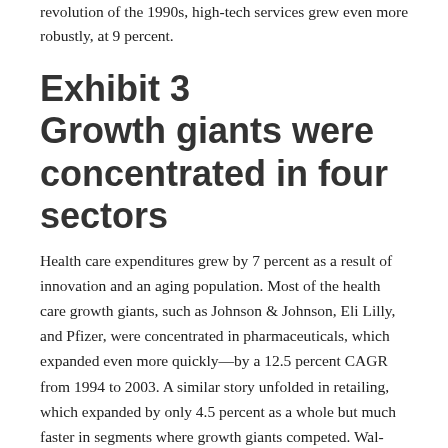revolution of the 1990s, high-tech services grew even more robustly, at 9 percent.
Exhibit 3
Growth giants were concentrated in four sectors
Health care expenditures grew by 7 percent as a result of innovation and an aging population. Most of the health care growth giants, such as Johnson & Johnson, Eli Lilly, and Pfizer, were concentrated in pharmaceuticals, which expanded even more quickly—by a 12.5 percent CAGR from 1994 to 2003. A similar story unfolded in retailing, which expanded by only 4.5 percent as a whole but much faster in segments where growth giants competed. Wal-Mart Stores' format innovations in the late 1980s, for instance, boosted growth in the overall discount-store segment, to the benefit of followers like Target. In the home-improvement segment, Lowe's, another growth giant, revamped its store format and capitalized on the do-it-yourself craze that The